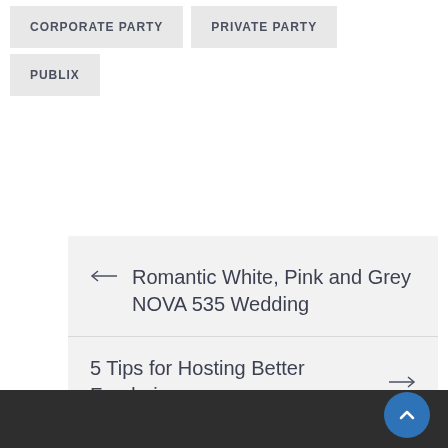CORPORATE PARTY
PRIVATE PARTY
PUBLIX
← Romantic White, Pink and Grey NOVA 535 Wedding
5 Tips for Hosting Better Fundraisers →